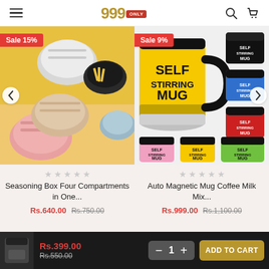999 ONLY — e-commerce store header with hamburger menu, logo, search and cart icons
[Figure (photo): Seasoning Box Four Compartments in One product image with Sale 15% badge and left/right navigation arrows]
[Figure (photo): Auto Magnetic Mug Coffee Milk Mix product image with Sale 9% badge and navigation arrow]
Seasoning Box Four Compartments in One...
Rs.640.00  Rs.750.00
Auto Magnetic Mug Coffee Milk Mix...
Rs.999.00  Rs.1,100.00
Rs.399.00  Rs.550.00  — 1 + ADD TO CART